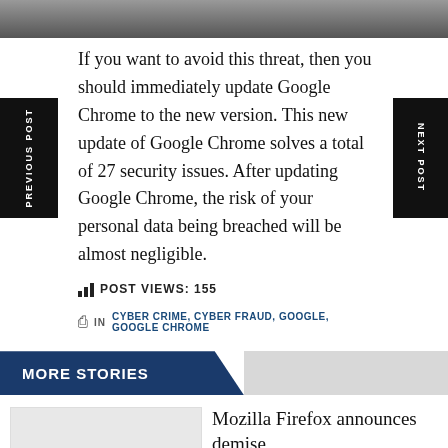[Figure (photo): Partial photo visible at top of page, appears to show a person]
If you want to avoid this threat, then you should immediately update Google Chrome to the new version. This new update of Google Chrome solves a total of 27 security issues. After updating Google Chrome, the risk of your personal data being breached will be almost negligible.
POST VIEWS: 155
IN  CYBER CRIME, CYBER FRAUD, GOOGLE, GOOGLE CHROME
MORE STORIES
Mozilla Firefox announces demise